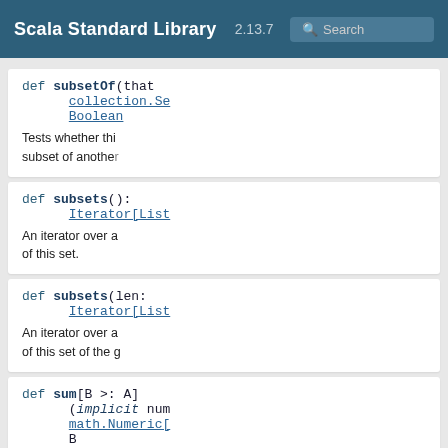Scala Standard Library 2.13.7
def subsetOf(that: collection.Se... Boolean — Tests whether this is a subset of another set.
def subsets(): Iterator[List... — An iterator over all subsets of this set.
def subsets(len: ...): Iterator[List... — An iterator over all subsets of this set of the given size.
def sum[B >: A](implicit num: math.Numeric[B]): B — Sums up the elements of this collection.